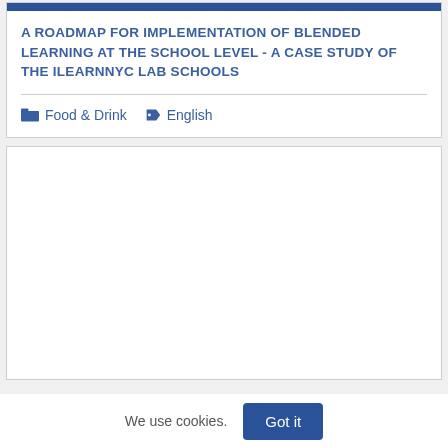A ROADMAP FOR IMPLEMENTATION OF BLENDED LEARNING AT THE SCHOOL LEVEL - A CASE STUDY OF THE ILEARNNYC LAB SCHOOLS
Food & Drink  English
[Figure (other): Empty white card area below the first card]
We use cookies.
Got it